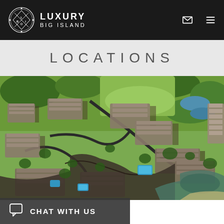LUXURY BIG ISLAND
LOCATIONS
[Figure (photo): Aerial view of a luxury resort community on the Big Island of Hawaii, showing multiple condominium buildings surrounded by lush green golf course and tropical landscaping, with dark lava rock formations and a coastal area visible.]
CHAT WITH US